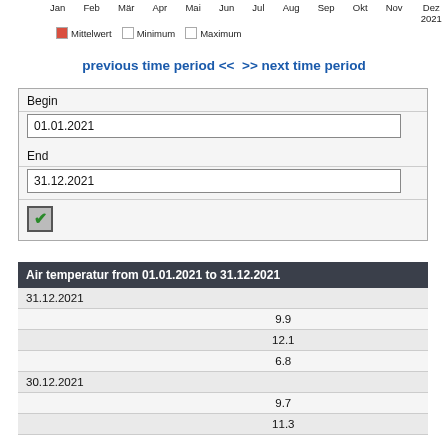[Figure (other): Partial x-axis labels for a time series chart showing months Jan through Dez 2021, with legend items: Mittelwert (red), Minimum (white/empty), Maximum (white/empty)]
previous time period <<  >> next time period
| Begin |
| --- |
| 01.01.2021 |
| End |
| 31.12.2021 |
| Air temperatur from 01.01.2021 to 31.12.2021 |
| --- |
| 31.12.2021 |
|  | 9.9 |
|  | 12.1 |
|  | 6.8 |
| 30.12.2021 |
|  | 9.7 |
|  | 11.3 |